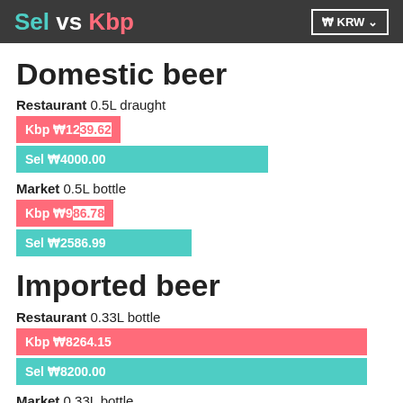Sel vs Kbp | ₩ KRW
Domestic beer
Restaurant 0.5L draught
[Figure (bar-chart): Restaurant 0.5L draught domestic beer]
Market 0.5L bottle
[Figure (bar-chart): Market 0.5L bottle domestic beer]
Imported beer
Restaurant 0.33L bottle
[Figure (bar-chart): Restaurant 0.33L bottle imported beer]
Market 0.33L bottle